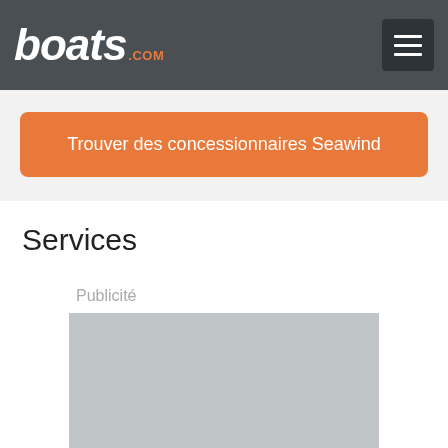boats.com
Trouver des concessionnaires Seawind
Services
Publicité
[Figure (other): Grey advertisement placeholder image]